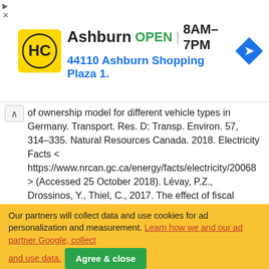[Figure (screenshot): Ad banner for Ashburn HC store showing logo, OPEN status, hours 8AM-7PM, address 44110 Ashburn Shopping Plaza 1., and navigation icon]
of ownership model for different vehicle types in Germany. Transport. Res. D: Transp. Environ. 57, 314–335. Natural Resources Canada. 2018. Electricity Facts < https://www.nrcan.gc.ca/energy/facts/electricity/20068 > (Accessed 25 October 2018). Lévay, P.Z., Drossinos, Y., Thiel, C., 2017. The effect of fiscal incentives on market penetration of electric vehicles: a pairwise comparison of total cost of ownership. Energy Policy 105, 524–533. Palmer, K., Tate, J.E., Wadud, Z., Nellthorp, J., 2018. Total cost of ownership and market share for hybrid and electric vehicles in the UK, US and Japan. Appl. Energy 209, 108–119. Plötz, P., Schneider, U., Globisch, J., Dütschke, E., 2014. Who will buy electric vehicles? Identifying early adopters in Germany. Transport. Res. A: Pol. Pract. 67, 96–109. Plug'n Drive, 2017. Driving EV Uptake in the Greater Toronto and Hamilton Area. Plug'n Drive, Toronto, ON.
Our partners will collect data and use cookies for ad personalization and measurement. Learn how we and our ad partner Google, collect and use data. Agree & close